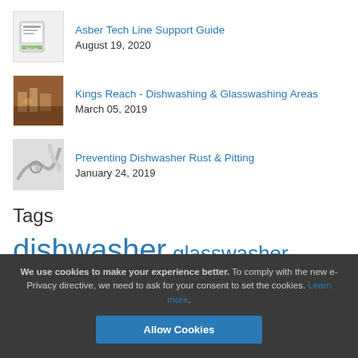Asber Tech Line Support Guide
August 19, 2020
Kings Reach - Dishwashing & Glasswashing Areas
March 05, 2019
Preventing Dishwasher Rust & Pitting
January 24, 2019
Tags
dishwasher glasswasher troubleshooting
We use cookies to make your experience better. To comply with the new e-Privacy directive, we need to ask for your consent to set the cookies. Learn more.
Allow Cookies